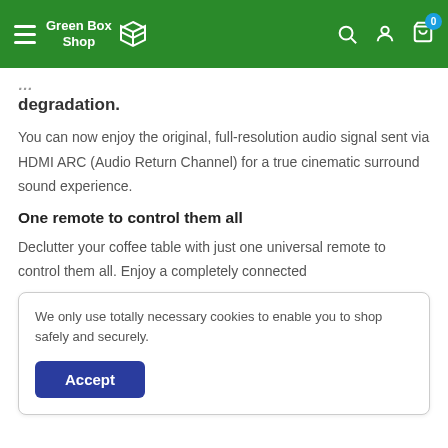Green Box Shop
degradation.
You can now enjoy the original, full-resolution audio signal sent via HDMI ARC (Audio Return Channel) for a true cinematic surround sound experience.
One remote to control them all
Declutter your coffee table with just one universal remote to control them all. Enjoy a completely connected
We only use totally necessary cookies to enable you to shop safely and securely.
Accept